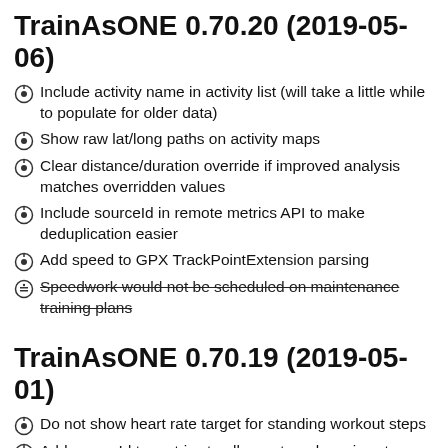TrainAsONE 0.70.20 (2019-05-06)
Include activity name in activity list (will take a little while to populate for older data)
Show raw lat/long paths on activity maps
Clear distance/duration override if improved analysis matches overridden values
Include sourceId in remote metrics API to make deduplication easier
Add speed to GPX TrackPointExtension parsing
Speedwork would not be scheduled on maintenance training plans
TrainAsONE 0.70.19 (2019-05-01)
Do not show heart rate target for standing workout steps
Add sourceId to metrics to allow external services to easily deduplicate pushed data
Improve colours selected on activity charts (more reds